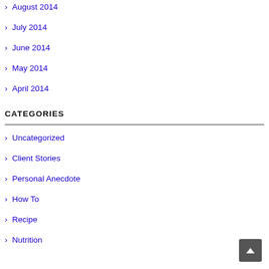August 2014
July 2014
June 2014
May 2014
April 2014
CATEGORIES
Uncategorized
Client Stories
Personal Anecdote
How To
Recipe
Nutrition